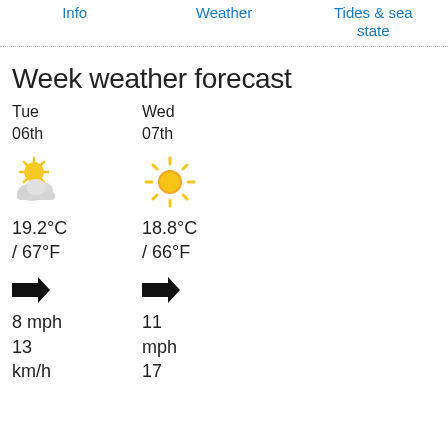Info   Weather   Tides & sea state
Week weather forecast
Tue
06th
19.2°C
/ 67°F
8 mph
13
km/h
Wed
07th
18.8°C
/ 66°F
11
mph
17